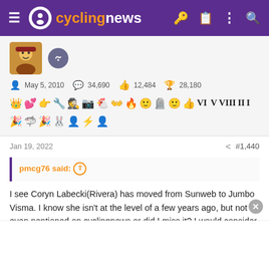cyclingnews
May 5, 2010   34,690   12,484   28,180
[Figure (other): User achievement badges and icons row]
Jan 19, 2022   #1,440
pmcg76 said: ↑

I see Coryn Labecki(Rivera) has moved from Sunweb to Jumbo Visma. I know she isn't at the level of a few years ago, but not even nentioned on cyclingnews or did I miss it? I would consider it one of the bigger transfers on the women's side,